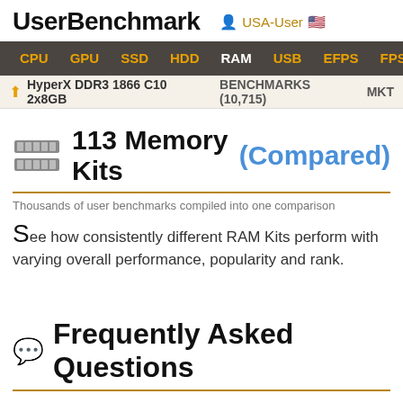UserBenchmark  USA-User
CPU  GPU  SSD  HDD  RAM  USB  EFPS  FPS  Sk
HyperX DDR3 1866 C10 2x8GB  BENCHMARKS (10,715)  MKT
113 Memory Kits (Compared)
Thousands of user benchmarks compiled into one comparison
See how consistently different RAM Kits perform with varying overall performance, popularity and rank.
Frequently Asked Questions
Computer Components FAQ
What is the UBM ranking for components?